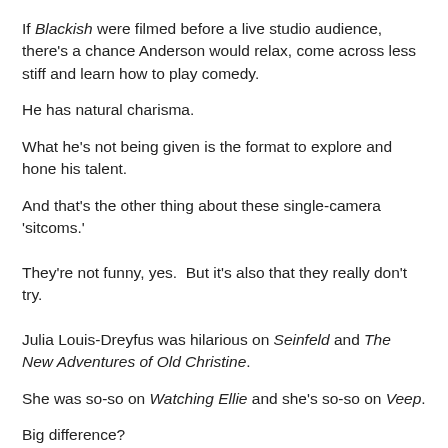If Blackish were filmed before a live studio audience, there's a chance Anderson would relax, come across less stiff and learn how to play comedy.
He has natural charisma.
What he's not being given is the format to explore and hone his talent.
And that's the other thing about these single-camera 'sitcoms.'
They're not funny, yes.  But it's also that they really don't try.
Julia Louis-Dreyfus was hilarious on Seinfeld and The New Adventures of Old Christine.
She was so-so on Watching Ellie and she's so-so on Veep.
Big difference?